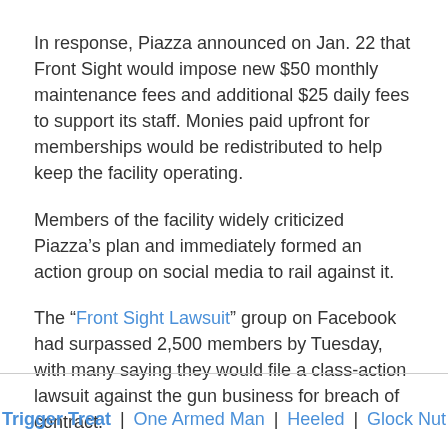In response, Piazza announced on Jan. 22 that Front Sight would impose new $50 monthly maintenance fees and additional $25 daily fees to support its staff. Monies paid upfront for memberships would be redistributed to help keep the facility operating.
Members of the facility widely criticized Piazza's plan and immediately formed an action group on social media to rail against it.
The “Front Sight Lawsuit” group on Facebook had surpassed 2,500 members by Tuesday, with many saying they would file a class-action lawsuit against the gun business for breach of contract.
Source: Brent Schanding, Pahrump Valley Times
Trigger Treat | One Armed Man | Heeled | Glock Nut